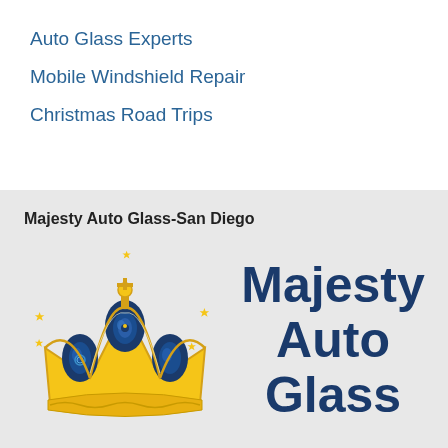Auto Glass Experts
Mobile Windshield Repair
Christmas Road Trips
Majesty Auto Glass-San Diego
[Figure (logo): Gold crown logo with blue jewels and sparkle stars for Majesty Auto Glass]
Majesty Auto Glass